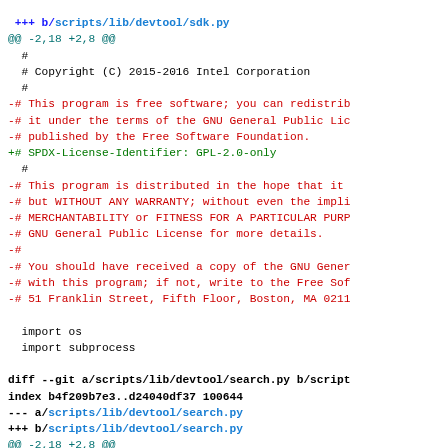Git diff output showing changes to scripts/lib/devtool/sdk.py and scripts/lib/devtool/search.py, replacing GPL license text with SPDX-License-Identifier.